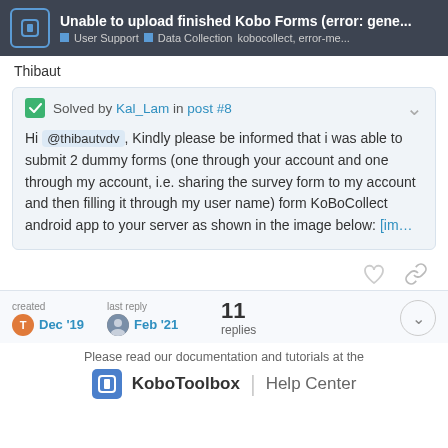Unable to upload finished Kobo Forms (error: gene... | User Support | Data Collection | kobocollect, error-me...
Thibaut
Solved by Kal_Lam in post #8
Hi @thibautvdv, Kindly please be informed that i was able to submit 2 dummy forms (one through your account and one through my account, i.e. sharing the survey form to my account and then filling it through my user name) form KoBoCollect android app to your server as shown in the image below: [im...
created Dec '19   last reply Feb '21   11 replies
Please read our documentation and tutorials at the KoboToolbox | Help Center